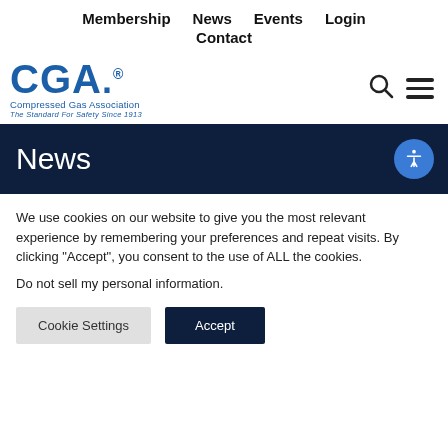Membership   News   Events   Login   Contact
[Figure (logo): CGA Compressed Gas Association logo - The Standard For Safety Since 1913]
News
We use cookies on our website to give you the most relevant experience by remembering your preferences and repeat visits. By clicking “Accept”, you consent to the use of ALL the cookies.
Do not sell my personal information.
Cookie Settings   Accept